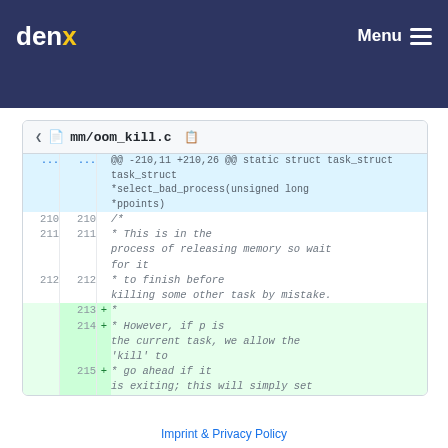denx  Menu
mm/oom_kill.c
@@ -210,11 +210,26 @@ static struct task_struct *select_bad_process(unsigned long *ppoints)
210 210     /*
211 211       * This is in the process of releasing memory so wait for it
212 212       * to finish before killing some other task by mistake.
    213 +       *
    214 +       * However, if p is the current task, we allow the 'kill' to
    215 +       * go ahead if it is exiting; this will simply set
Imprint & Privacy Policy